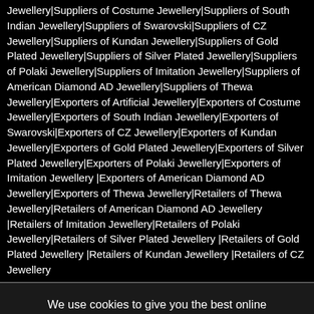Jewellery|Suppliers of Costume Jewellery|Suppliers of South Indian Jewellery|Suppliers of Swarovski|Suppliers of CZ Jewellery|Suppliers of Kundan Jewellery|Suppliers of Gold Plated Jewellery|Suppliers of Silver Plated Jewellery|Suppliers of Polaki Jewellery|Suppliers of Imitation Jewellery|Suppliers of American Diamond AD Jewellery|Suppliers of Thewa Jewellery|Exporters of Artificial Jewellery|Exporters of Costume Jewellery|Exporters of South Indian Jewellery|Exporters of Swarovski|Exporters of CZ Jewellery|Exporters of Kundan Jewellery|Exporters of Gold Plated Jewellery|Exporters of Silver Plated Jewellery|Exporters of Polaki Jewellery|Exporters of Imitation Jewellery |Exporters of American Diamond AD Jewellery|Exporters of Thewa Jewellery|Retailers of Thewa Jewellery|Retailers of American Diamond AD Jewellery |Retailers of Imitation Jewellery|Retailers of Polaki Jewellery|Retailers of Silver Plated Jewellery |Retailers of Gold Plated Jewellery |Retailers of Kundan Jewellery |Retailers of CZ Jewellery
We use cookies to give you the best online experience. By using our website you agree to our use of cookies in accordance with our Cookies Policy
Don't show again
Accept